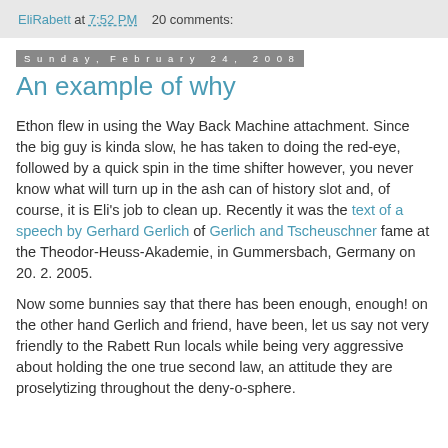EliRabett at 7:52 PM   20 comments:
Sunday, February 24, 2008
An example of why
Ethon flew in using the Way Back Machine attachment. Since the big guy is kinda slow, he has taken to doing the red-eye, followed by a quick spin in the time shifter however, you never know what will turn up in the ash can of history slot and, of course, it is Eli's job to clean up. Recently it was the text of a speech by Gerhard Gerlich of Gerlich and Tscheuschner fame at the Theodor-Heuss-Akademie, in Gummersbach, Germany on 20. 2. 2005.
Now some bunnies say that there has been enough, enough! on the other hand Gerlich and friend, have been, let us say not very friendly to the Rabett Run locals while being very aggressive about holding the one true second law, an attitude they are proselytizing throughout the deny-o-sphere.